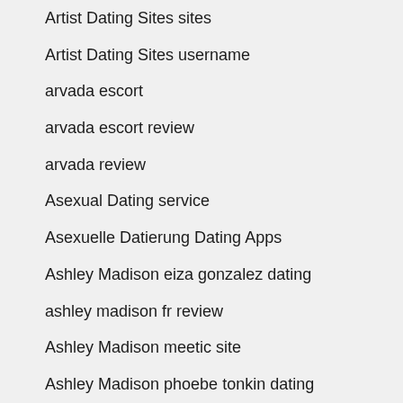Artist Dating Sites sites
Artist Dating Sites username
arvada escort
arvada escort review
arvada review
Asexual Dating service
Asexuelle Datierung Dating Apps
Ashley Madison eiza gonzalez dating
ashley madison fr review
Ashley Madison meetic site
Ashley Madison phoebe tonkin dating
Ashley Madison visitors